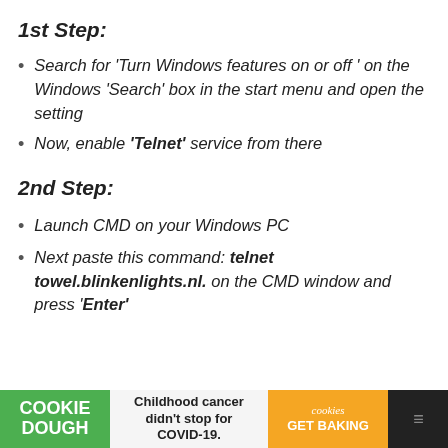1st Step:
Search for 'Turn Windows features on or off ' on the Windows 'Search' box in the start menu and open the setting
Now, enable 'Telnet' service from there
2nd Step:
Launch CMD on your Windows PC
Next paste this command: telnet towel.blinkenlights.nl. on the CMD window and press 'Enter'
[Figure (other): Cookie Dough advertisement banner: 'Childhood cancer didn't stop for COVID-19. GET BAKING']